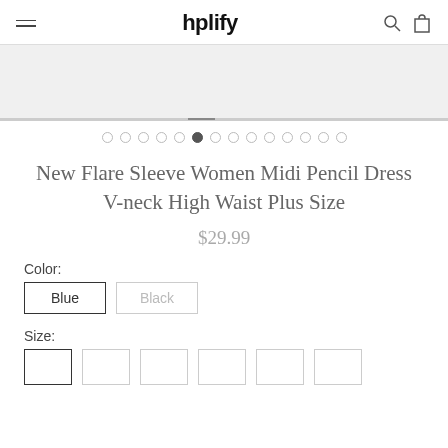hplify
[Figure (screenshot): Product image carousel area showing partial product photo]
[Figure (other): Image carousel dot indicators, 14 dots total, 5th dot is active/filled]
New Flare Sleeve Women Midi Pencil Dress V-neck High Waist Plus Size
$29.99
Color:
Blue
Black
Size: